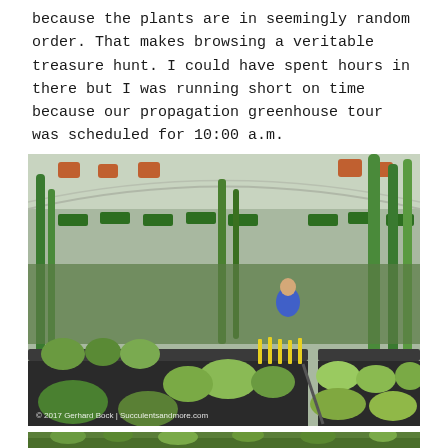because the plants are in seemingly random order. That makes browsing a veritable treasure hunt. I could have spent hours in there but I was running short on time because our propagation greenhouse tour was scheduled for 10:00 a.m.
[Figure (photo): Interior of a greenhouse nursery packed with succulents, cacti and other plants on display tables, with tall columnar cacti and hanging baskets, a person browsing in the background. Yellow plant label stakes visible on lower tables. Watermark reads: © 2017 Gerhard Bock | Succulentsandmore.com]
[Figure (photo): Partial bottom strip showing the top edge of another greenhouse photo with green plants visible.]